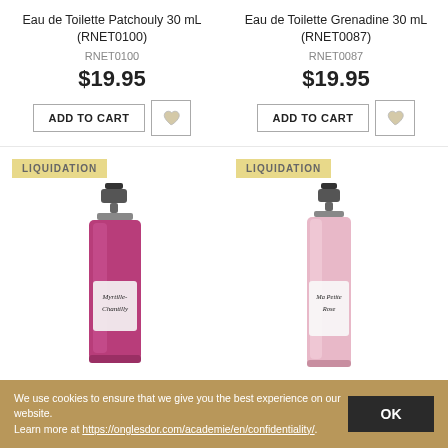Eau de Toilette Patchouly 30 mL (RNET0100)
RNET0100
$19.95
Eau de Toilette Grenadine 30 mL (RNET0087)
RNET0087
$19.95
[Figure (photo): Perfume bottle labeled Myrtille-Chantilly with LIQUIDATION badge, pink/magenta bottle]
[Figure (photo): Perfume bottle labeled Ma Petite Rose with LIQUIDATION badge, light pink bottle]
We use cookies to ensure that we give you the best experience on our website.
Learn more at https://onglesdor.com/academie/en/confidentiality/.